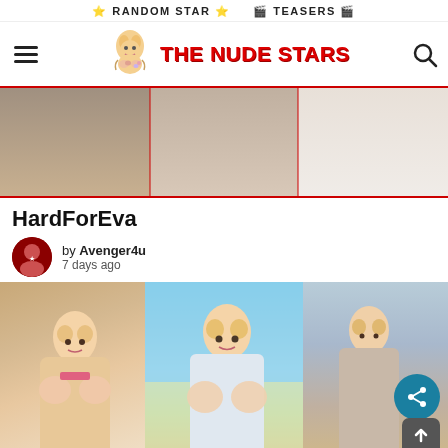⭐ RANDOM STAR ⭐ 🎬 TEASERS 🎬
[Figure (logo): The Nude Stars website logo with mascot illustration and red bold text 'THE NUDE STARS', hamburger menu icon on left, search icon on right]
[Figure (photo): Banner image showing cropped photos of women]
HardForEva
by Avenger4u
7 days ago
[Figure (photo): Gallery strip showing three panels with photos of women, share button overlay, scroll-to-top button]